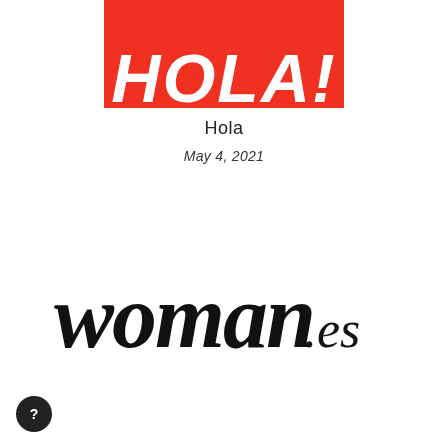[Figure (logo): Hola magazine logo — bold white italic letters on a red background, partially cropped at top]
Hola
May 4, 2021
[Figure (logo): woman.es logo in large black calligraphic/script font]